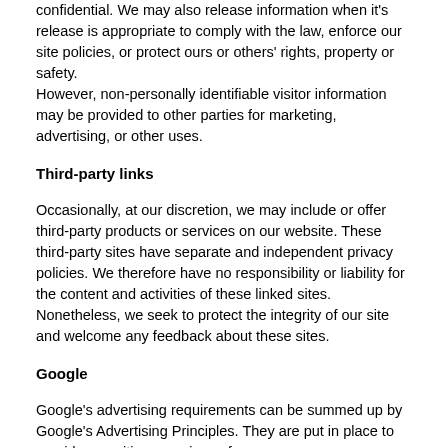confidential. We may also release information when it's release is appropriate to comply with the law, enforce our site policies, or protect ours or others' rights, property or safety.
However, non-personally identifiable visitor information may be provided to other parties for marketing, advertising, or other uses.
Third-party links
Occasionally, at our discretion, we may include or offer third-party products or services on our website. These third-party sites have separate and independent privacy policies. We therefore have no responsibility or liability for the content and activities of these linked sites. Nonetheless, we seek to protect the integrity of our site and welcome any feedback about these sites.
Google
Google's advertising requirements can be summed up by Google's Advertising Principles. They are put in place to provide a positive experience for users.